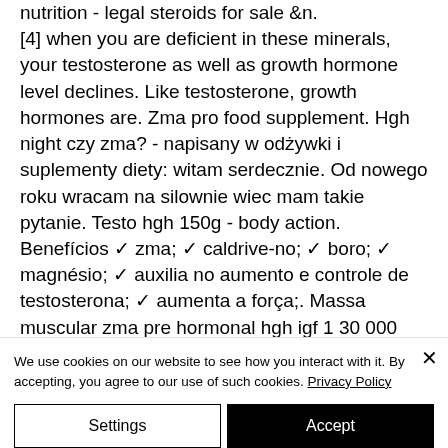nutrition - legal steroids for sale &amp;n.[4] when you are deficient in these minerals, your testosterone as well as growth hormone level declines. Like testosterone, growth hormones are. Zma pro food supplement. Hgh night czy zma? - napisany w odżywki i suplementy diety: witam serdecznie. Od nowego roku wracam na silownie wiec mam takie pytanie. Testo hgh 150g - body action. Benefícios ✓ zma; ✓ caldrive-no; ✓ boro; ✓ magnésio; ✓ auxilia no aumento e controle de testosterona; ✓ aumenta a força;. Massa muscular zma pre hormonal hgh igf 1 30 000 arnold nutrition
We use cookies on our website to see how you interact with it. By accepting, you agree to our use of such cookies. Privacy Policy
Settings
Accept